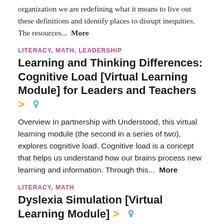organization we are redefining what it means to live out these definitions and identify places to disrupt inequities. The resources...  More
LITERACY, MATH, LEADERSHIP
Learning and Thinking Differences: Cognitive Load [Virtual Learning Module] for Leaders and Teachers >
Overview In partnership with Understood, this virtual learning module (the second in a series of two), explores cognitive load. Cognitive load is a concept that helps us understand how our brains process new learning and information. Through this...  More
LITERACY, MATH
Dyslexia Simulation [Virtual Learning Module] >